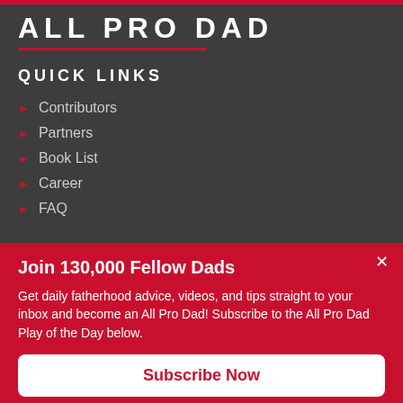ALL PRO DAD
QUICK LINKS
Contributors
Partners
Book List
Career
FAQ
Join 130,000 Fellow Dads
Get daily fatherhood advice, videos, and tips straight to your inbox and become an All Pro Dad! Subscribe to the All Pro Dad Play of the Day below.
Subscribe Now